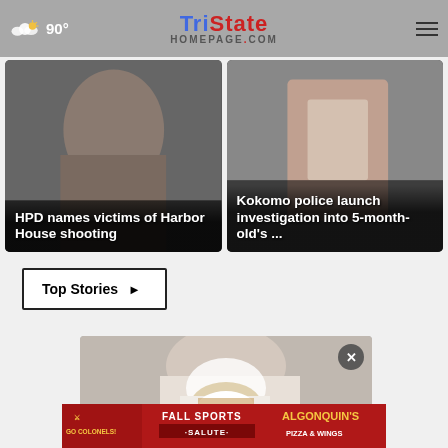90° — TristateHomepage.com
[Figure (screenshot): News card: mugshot-style photo with headline 'HPD names victims of Harbor House shooting']
[Figure (screenshot): News card: close-up photo with headline 'Kokomo police launch investigation into 5-month-old's ...']
Top Stories ▶
[Figure (photo): Photo showing person wearing white sneakers with a close-up of the shoes and white pants]
[Figure (screenshot): Advertisement banner: Fall Sports Salute - Go Colonels! - Algonquin's Pizza & Wings]